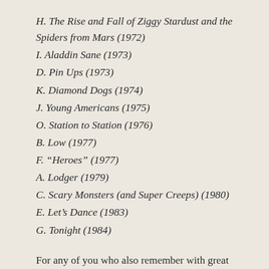H. The Rise and Fall of Ziggy Stardust and the Spiders from Mars (1972)
I. Aladdin Sane (1973)
D. Pin Ups (1973)
K. Diamond Dogs (1974)
J. Young Americans (1975)
O. Station to Station (1976)
B. Low (1977)
F. “Heroes” (1977)
A. Lodger (1979)
C. Scary Monsters (and Super Creeps) (1980)
E. Let’s Dance (1983)
G. Tonight (1984)
For any of you who also remember with great fondness the analogue world of cassette recorders,